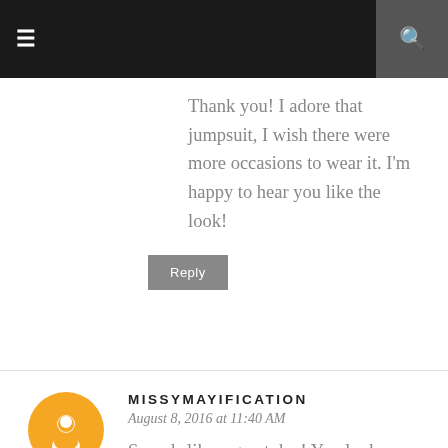Navigation bar with menu and search icons
Thank you! I adore that jumpsuit, I wish there were more occasions to wear it. I'm happy to hear you like the look!
Reply
MISSYMAYIFICATION
August 8, 2016 at 11:40 AM
Sounds like a great day! You look pretty in both outfits and your sis too. I love the draping on the jumpsuit.